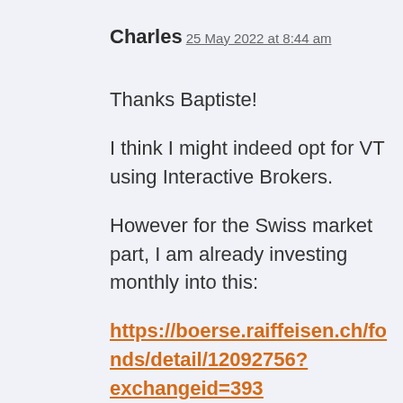Charles
25 May 2022 at 8:44 am
Thanks Baptiste!
I think I might indeed opt for VT using Interactive Brokers.
However for the Swiss market part, I am already investing monthly into this:
https://boerse.raiffeisen.ch/fonds/detail/12092756?exchangeid=393